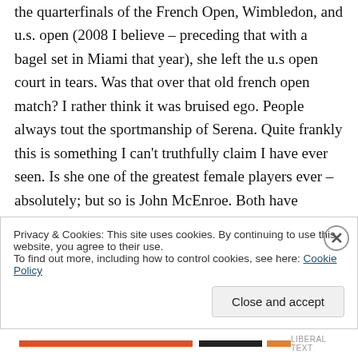the quarterfinals of the French Open, Wimbledon, and U.S. Open (2008 I believe – preceding that with a bagel set in Miami that year), she left the U.S Open court in tears. Was that over that old French Open match? I rather think it was bruised ego. People always tout the sportmanship of Serena. Quite frankly this is something I can't truthfully claim I have ever seen. Is she one of the greatest female players ever – absolutely; but so is John McEnroe. Both have similar temperments. There's being competitive, and
Privacy & Cookies: This site uses cookies. By continuing to use this website, you agree to their use.
To find out more, including how to control cookies, see here: Cookie Policy